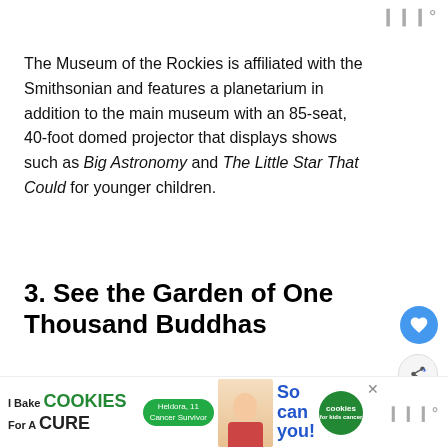The Museum of the Rockies is affiliated with the Smithsonian and features a planetarium in addition to the main museum with an 85-seat, 40-foot domed projector that displays shows such as Big Astronomy and The Little Star That Could for younger children.
3. See the Garden of One Thousand Buddhas
[Figure (photo): Partial view of a green landscape/garden photo strip]
[Figure (infographic): Advertisement banner: I Bake COOKIES For A CURE - Heldora, 11 Cancer Survivor - So can you! cookies for kids cancer]